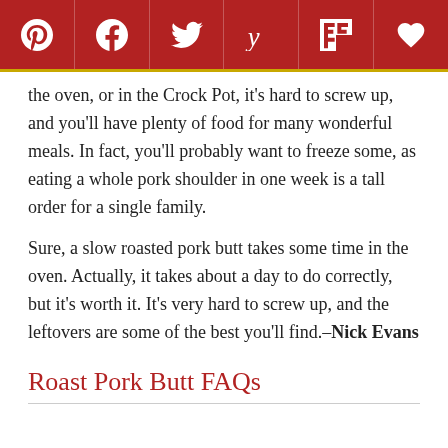[Figure (other): Social sharing toolbar with icons for Pinterest, Facebook, Twitter, Yummly, Flipboard, and a heart/favorite button on a dark red background]
the oven, or in the Crock Pot, it's hard to screw up, and you'll have plenty of food for many wonderful meals. In fact, you'll probably want to freeze some, as eating a whole pork shoulder in one week is a tall order for a single family.
Sure, a slow roasted pork butt takes some time in the oven. Actually, it takes about a day to do correctly, but it's worth it. It's very hard to screw up, and the leftovers are some of the best you'll find.–Nick Evans
Roast Pork Butt FAQs